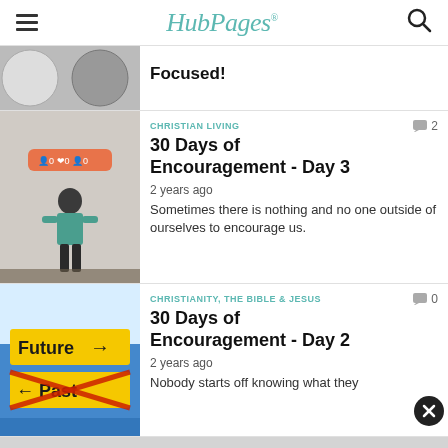HubPages
Focused!
CHRISTIAN LIVING  2
30 Days of Encouragement - Day 3
2 years ago
Sometimes there is nothing and no one outside of ourselves to encourage us.
CHRISTIANITY, THE BIBLE & JESUS  0
30 Days of Encouragement - Day 2
2 years ago
Nobody starts off knowing what they